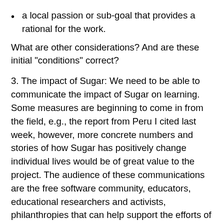a local passion or sub-goal that provides a rational for the work.
What are other considerations? And are these initial "conditions" correct?
3. The impact of Sugar: We need to be able to communicate the impact of Sugar on learning. Some measures are beginning to come in from the field, e.g., the report from Peru I cited last week, however, more concrete numbers and stories of how Sugar has positively change individual lives would be of great value to the project. The audience of these communications are the free software community, educators, educational researchers and activists, philanthropies that can help support the efforts of these groups, and organizations that want to build products or service on top of Sugar (either for or not for profit). Put your stories in the wiki or share them on the mailing lists.